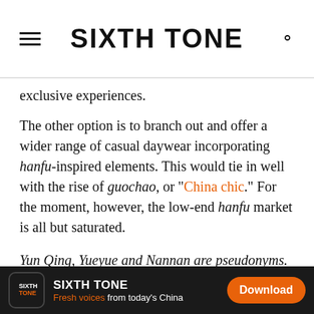SIXTH TONE
exclusive experiences.
The other option is to branch out and offer a wider range of casual daywear incorporating hanfu-inspired elements. This would tie in well with the rise of guochao, or “China chic.” For the moment, however, the low-end hanfu market is all but saturated.
Yun Qing, Yueyue and Nannan are pseudonyms.
A version of this article originally appeared in Kaiboluo Caijing. It has been translated and edited for brevity and clarity, and published with permission.
Translator: Lewis Wright; editors: Zhi Yu and Apurva
SIXTH TONE — Fresh voices from today’s China — Download